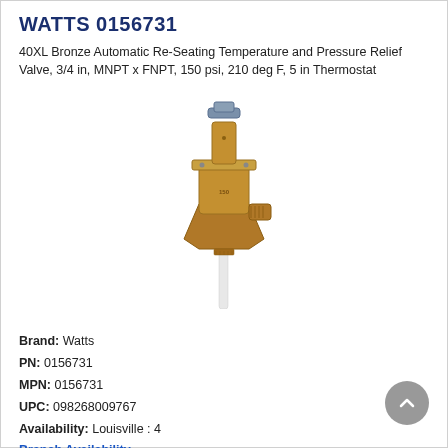WATTS 0156731
40XL Bronze Automatic Re-Seating Temperature and Pressure Relief Valve, 3/4 in, MNPT x FNPT, 150 psi, 210 deg F, 5 in Thermostat
[Figure (photo): Bronze automatic re-seating temperature and pressure relief valve with thermostat probe extending downward]
Brand: Watts
PN: 0156731
MPN: 0156731
UPC: 098268009767
Availability: Louisville : 4
Branch Availability
Min. Order Qty: 1
Qty. Interval: 1